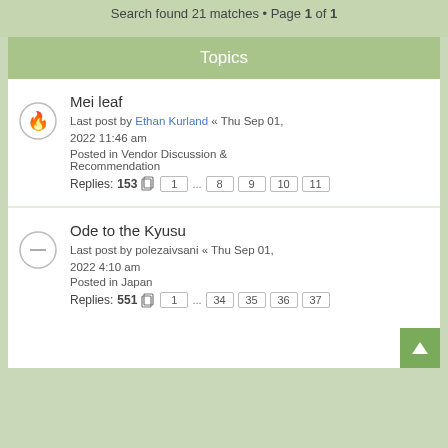Search found 21 matches · Page 1 of 1
Topics
Mei leaf
Last post by Ethan Kurland « Thu Sep 01, 2022 11:46 am
Posted in Vendor Discussion & Recommendation
Replies: 153  1 ... 8 9 10 11
Ode to the Kyusu
Last post by polezaivsani « Thu Sep 01, 2022 4:10 am
Posted in Japan
Replies: 551  1 ... 34 35 36 37